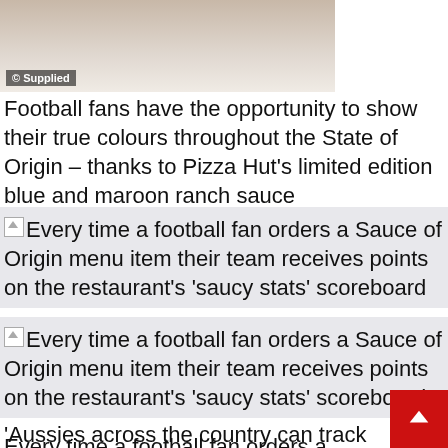[Figure (photo): Photo of food/pizza item on white background, with '© Supplied' watermark badge in lower left.]
Football fans have the opportunity to show their true colours throughout the State of Origin – thanks to Pizza Hut's limited edition blue and maroon ranch sauce
Every time a football fan orders a Sauce of Origin menu item their team receives points on the restaurant's 'saucy stats' scoreboard
Every time a football fan orders a Sauce of Origin menu item their team receives points on the restaurant's 'saucy stats' scoreboard
Every time a football fan orders a Sauce of Origin menu item their team receives points on the restaurant's 'saucy stats' scoreboard
'Aussies across the country can track how the states